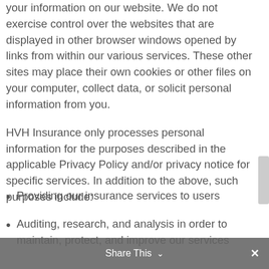This Privacy Policy applies to how we handle your information on our website. We do not exercise control over the websites that are displayed in other browser windows opened by links from within our various services. These other sites may place their own cookies or other files on your computer, collect data, or solicit personal information from you.
HVH Insurance only processes personal information for the purposes described in the applicable Privacy Policy and/or privacy notice for specific services. In addition to the above, such purposes include:
Providing our insurance services to users
Auditing, research, and analysis in order to maintain, protect, and improve our services